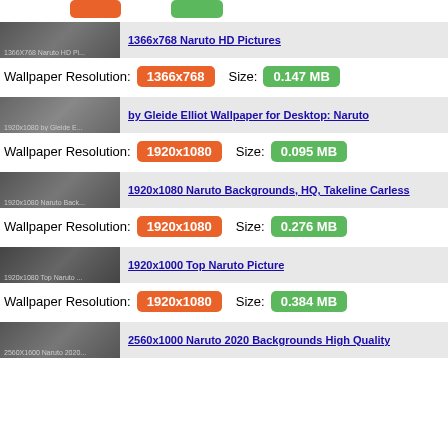[Figure (screenshot): Top partial row with orange and green resolution/size badges visible at top]
1366X768 Naruto HD Pi...   1366x768 Naruto HD Pictures
Wallpaper Resolution: 1366x768   Size: 0.147 MB
1920x1080 by Gleide E...   by Gleide Elliot Wallpaper for Desktop: Naruto
Wallpaper Resolution: 1920x1080   Size: 0.095 MB
1920x1080 Naruto Back...   1920x1080 Naruto Backgrounds, HQ, Takeline Carless
Wallpaper Resolution: 1920x1080   Size: 0.276 MB
1920x1080 Top Naruto ...   1920x1000 Top Naruto Picture
Wallpaper Resolution: 1920x1080   Size: 0.384 MB
2560X1600 Naruto 2020...   2560x1000 Naruto 2020 Backgrounds High Quality